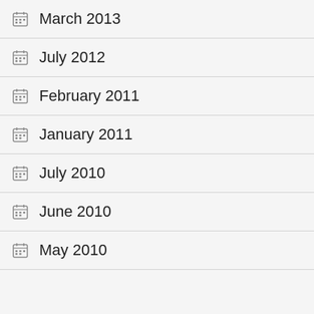March 2013
July 2012
February 2011
January 2011
July 2010
June 2010
May 2010